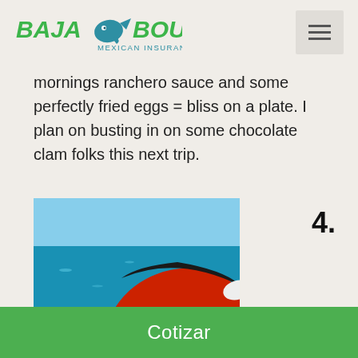[Figure (logo): Baja Bound Mexican Insurance logo with stylized fish/arrow icon]
mornings ranchero sauce and some perfectly fried eggs = bliss on a plate. I plan on busting in on some chocolate clam folks this next trip.
[Figure (photo): Photo of kitesurfing kite (red and black) over blue ocean water with person in hat visible]
4.
Cotizar